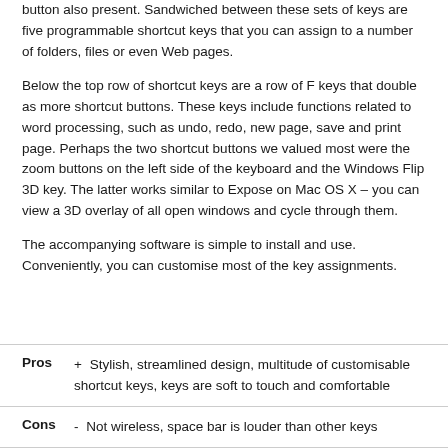button also present. Sandwiched between these sets of keys are five programmable shortcut keys that you can assign to a number of folders, files or even Web pages.
Below the top row of shortcut keys are a row of F keys that double as more shortcut buttons. These keys include functions related to word processing, such as undo, redo, new page, save and print page. Perhaps the two shortcut buttons we valued most were the zoom buttons on the left side of the keyboard and the Windows Flip 3D key. The latter works similar to Expose on Mac OS X – you can view a 3D overlay of all open windows and cycle through them.
The accompanying software is simple to install and use. Conveniently, you can customise most of the key assignments.
Pros  + Stylish, streamlined design, multitude of customisable shortcut keys, keys are soft to touch and comfortable
Cons  - Not wireless, space bar is louder than other keys